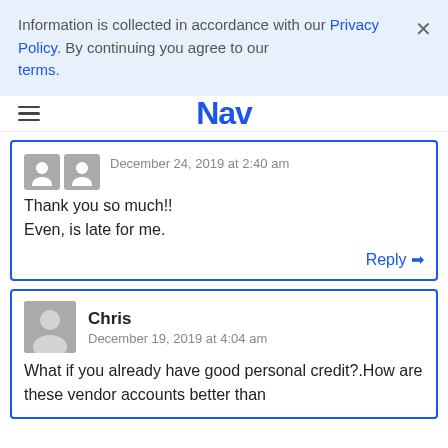Information is collected in accordance with our Privacy Policy. By continuing you agree to our terms.
Nav
December 24, 2019 at 2:40 am
Thank you so much!!
Even, is late for me.
Reply
Chris
December 19, 2019 at 4:04 am
What if you already have good personal credit?.How are these vendor accounts better than